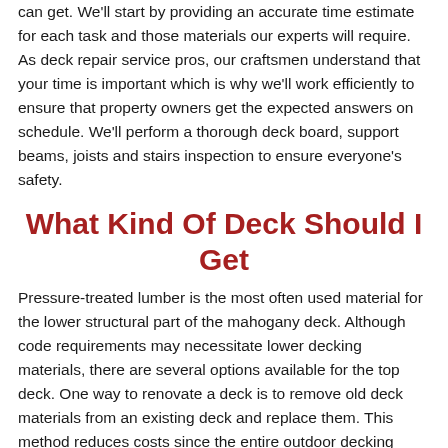can get. We'll start by providing an accurate time estimate for each task and those materials our experts will require. As deck repair service pros, our craftsmen understand that your time is important which is why we'll work efficiently to ensure that property owners get the expected answers on schedule. We'll perform a thorough deck board, support beams, joists and stairs inspection to ensure everyone's safety.
What Kind Of Deck Should I Get
Pressure-treated lumber is the most often used material for the lower structural part of the mahogany deck. Although code requirements may necessitate lower decking materials, there are several options available for the top deck. One way to renovate a deck is to remove old deck materials from an existing deck and replace them. This method reduces costs since the entire outdoor decking structure does not need to be rebuilt.